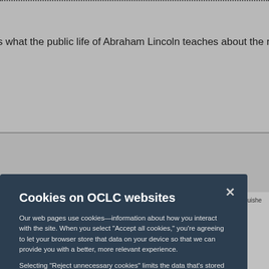s what the public life of Abraham Lincoln teaches about the role of religion in a
Cookies on OCLC websites
Our web pages use cookies—information about how you interact with the site. When you select “Accept all cookies,” you’re agreeing to let your browser store that data on your device so that we can provide you with a better, more relevant experience.
Selecting “Reject unnecessary cookies” limits the data that’s stored to what’s strictly necessary for using the site. However, that may negatively impact your experience. You can also customize your cookie settings.
See our Cookie Notice for more information
Accept all cookies
Reject unnecessary